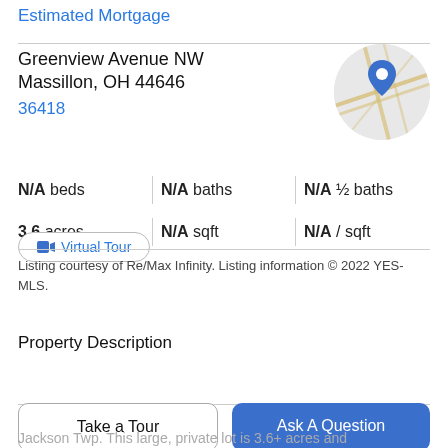Estimated Mortgage
Greenview Avenue NW
Massillon, OH 44646
36418
[Figure (map): Circular map thumbnail with road lines and blue location pin marker]
N/A beds | N/A baths | N/A ½ baths
3.6 acres | N/A sqft | N/A / sqft
Virtual Tour
Listing courtesy of Re/Max Infinity. Listing information © 2022 YES-MLS.
Property Description
Take a Tour
Ask A Question
Jackson Twp. This large, private lot is 3.6+ acres and